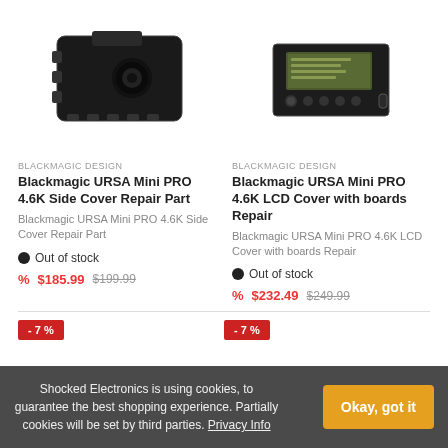[Figure (photo): Blackmagic URSA Mini PRO 4.6K Side Cover Repair Part - black camera component]
BLACKMAGIC DESIGN
Blackmagic URSA Mini PRO 4.6K Side Cover Repair Part
Blackmagic URSA Mini PRO 4.6K Side Cover Repair Part
Out of stock
% $185.99  $199.99
[Figure (photo): Blackmagic URSA Mini PRO 4.6K LCD Cover with boards Repair - black device with LCD screen]
BLACKMAGIC DESIGN
Blackmagic URSA Mini PRO 4.6K LCD Cover with boards Repair
Blackmagic URSA Mini PRO 4.6K LCD Cover with boards Repair
Out of stock
% $232.49  $249.99
- 7 %
- 7 %
Shocked Electronics is using cookies, to guarantee the best shopping experience. Partially cookies will be set by third parties. Privacy Info